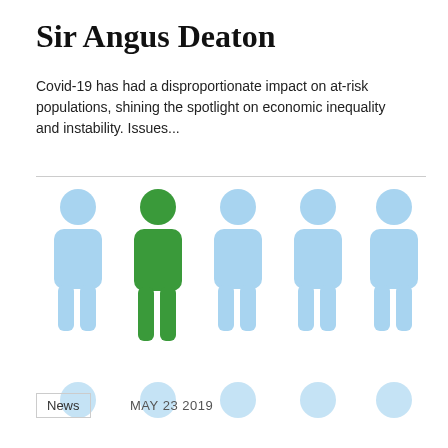Sir Angus Deaton
Covid-19 has had a disproportionate impact on at-risk populations, shining the spotlight on economic inequality and instability. Issues...
[Figure (infographic): Five human figure icons in two rows — one figure highlighted in green (second from left), the rest in light blue. The bottom row shows only the lower halves (torsos/legs cut off). Represents 1 in 5 people highlighted.]
News   MAY 23 2019